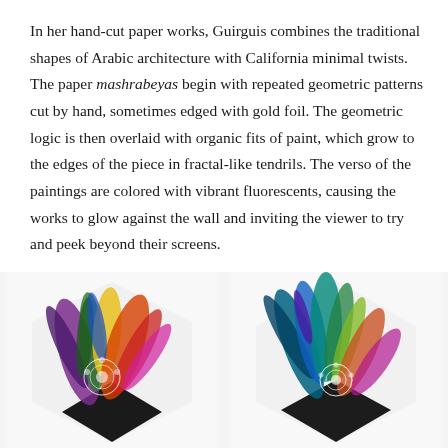In her hand-cut paper works, Guirguis combines the traditional shapes of Arabic architecture with California minimal twists. The paper mashrabeyas begin with repeated geometric patterns cut by hand, sometimes edged with gold foil. The geometric logic is then overlaid with organic fits of paint, which grow to the edges of the piece in fractal-like tendrils. The verso of the paintings are colored with vibrant fluorescents, causing the works to glow against the wall and inviting the viewer to try and peek beyond their screens.
[Figure (photo): Two colorful hand-cut paper artworks side by side showing vibrant paint splashes with geometric patterns on white hexagonal or diamond-shaped backings, featuring feather-like tendrils of paint in rainbow colors.]